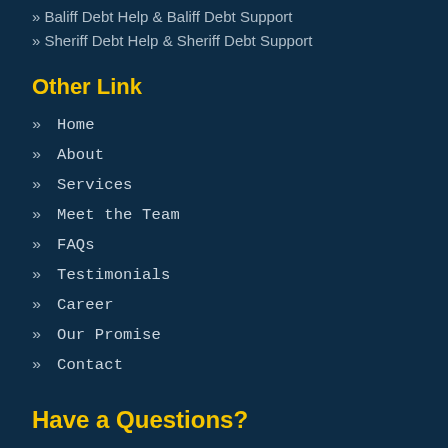» Baliff Debt Help & Baliff Debt Support
» Sheriff Debt Help & Sheriff Debt Support
Other Link
» Home
» About
» Services
» Meet the Team
» FAQs
» Testimonials
» Career
» Our Promise
» Contact
Have a Questions?
info@nationaldebtassistance.org.uk
www.nationaldebtassistance.org.uk